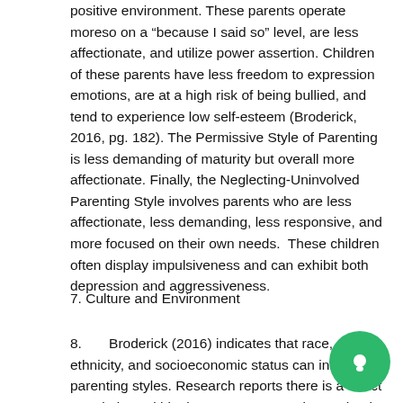positive environment. These parents operate moreso on a “because I said so” level, are less affectionate, and utilize power assertion. Children of these parents have less freedom to expression emotions, are at a high risk of being bullied, and tend to experience low self-esteem (Broderick, 2016, pg. 182). The Permissive Style of Parenting is less demanding of maturity but overall more affectionate. Finally, the Neglecting-Uninvolved Parenting Style involves parents who are less affectionate, less demanding, less responsive, and more focused on their own needs.  These children often display impulsiveness and can exhibit both depression and aggressiveness.
7. Culture and Environment
8.       Broderick (2016) indicates that race, ethnicity, and socioeconomic status can influence parenting styles. Research reports there is a direct correlation, within the European American school system...